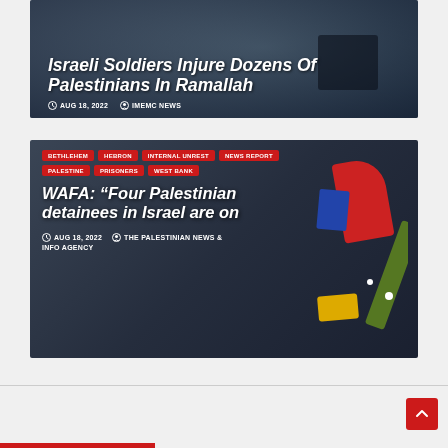[Figure (photo): News article card with dark background photo of Palestinian protest scene. Shows Israeli Soldiers headline.]
Israeli Soldiers Injure Dozens Of Palestinians In Ramallah
AUG 18, 2022   IMEMC NEWS
[Figure (illustration): News article card with dark illustration background. Shows tags and WAFA article headline.]
BETHLEHEM   HEBRON   INTERNAL UNREST   NEWS REPORT   PALESTINE   PRISONERS   WEST BANK
WAFA: “Four Palestinian detainees in Israel are on
AUG 18, 2022   THE PALESTINIAN NEWS & INFO AGENCY